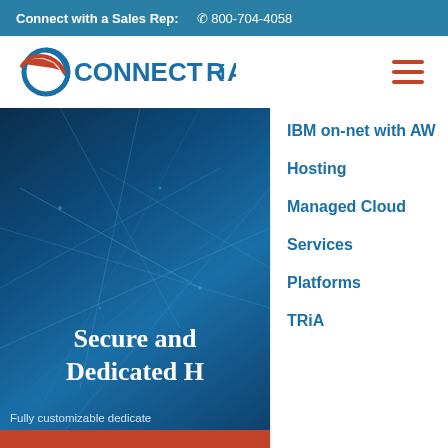Connect with a Sales Rep:  800-704-4058
[Figure (logo): CONNECTRiA company logo with stylized C and arrow]
[Figure (illustration): Hamburger menu icon with three orange horizontal lines]
[Figure (photo): Blue network/tech background with abstract light lines]
Secure and Dedicated H
Fully customizable dedicate
IBM on-net with AW
Hosting
Managed Cloud
Services
Platforms
TRiA